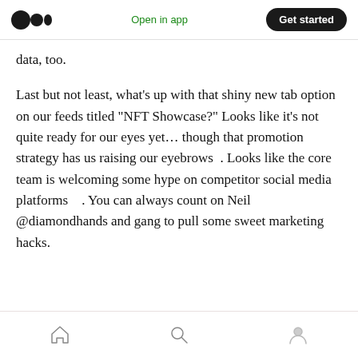Medium logo | Open in app | Get started
data, too.
Last but not least, what’s up with that shiny new tab option on our feeds titled “NFT Showcase?” Looks like it’s not quite ready for our eyes yet… though that promotion strategy has us raising our eyebrows 🤨. Looks like the core team is welcoming some hype on competitor social media platforms 😅. You can always count on Neil @diamondhands and gang to pull some sweet marketing hacks.
Home | Search | Profile